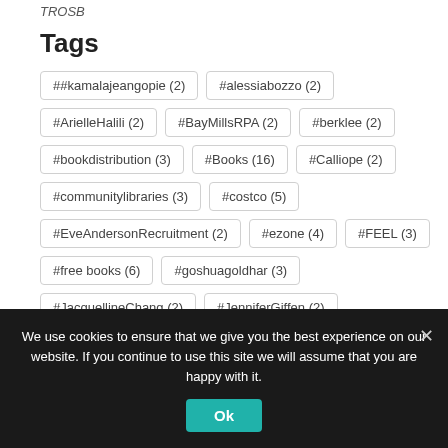TROSB
Tags
##kamalajeangopie (2)
#alessiabozzo (2)
#ArielleHalili (2)
#BayMillsRPA (2)
#berklee (2)
#bookdistribution (3)
#Books (16)
#Calliope (2)
#communitylibraries (3)
#costco (5)
#EveAndersonRecruitment (2)
#ezone (4)
#FEEL (3)
#free books (6)
#goshuagoldhar (3)
#JacquellineChang (2)
#JenniferGiffen (2)
#joecampisi (3)
#KylerZhang (2)
#literacy (12)
We use cookies to ensure that we give you the best experience on our website. If you continue to use this site we will assume that you are happy with it.
Ok